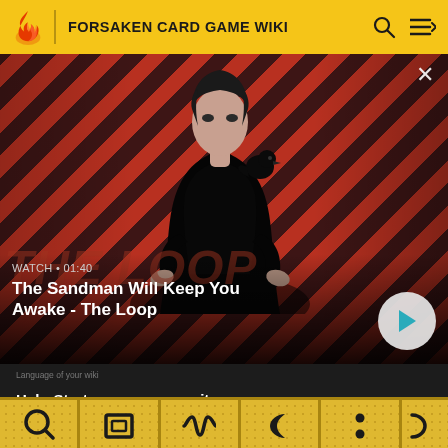FORSAKEN CARD GAME WIKI
[Figure (screenshot): Video thumbnail showing a dark figure with a crow/raven on shoulder against red diagonal stripe background. Text overlay: WATCH · 01:40, The Sandman Will Keep You Awake - The Loop. Play button on right.]
Help:Start a new community
Community Central
[Figure (illustration): Row of game cards with golden/yellow polka-dot border background showing various dark symbols: magnifying glass, square with rectangle, wavy line, crescent moon, colon/dots, and partial symbol]